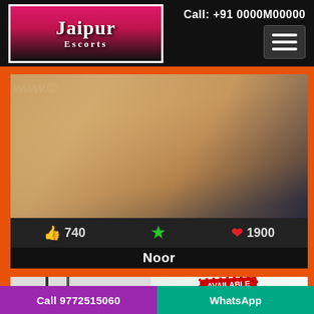Jaipur Escorts — Call: +91 0000M00000
[Figure (photo): Photo of a woman's torso on a dark background with 'www.' watermark text partially visible]
👍 740   ★   ❤ 1900
Noor
[Figure (photo): Partial photo of woman with an 'AVAILABLE NOW' red tag badge]
Call 9772515060   WhatsApp